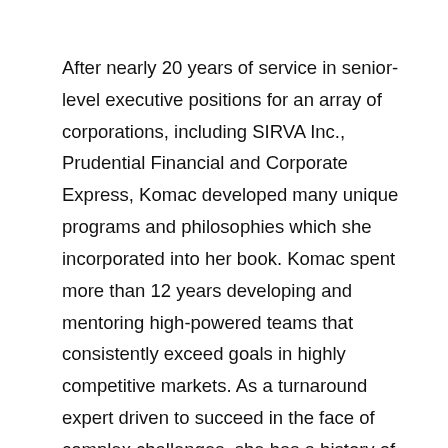After nearly 20 years of service in senior-level executive positions for an array of corporations, including SIRVA Inc., Prudential Financial and Corporate Express, Komac developed many unique programs and philosophies which she incorporated into her book. Komac spent more than 12 years developing and mentoring high-powered teams that consistently exceed goals in highly competitive markets. As a turnaround expert driven to succeed in the face of complex challenges, she has a history of successfully implementing and motivating global sales teams to become multi-million dollar industry leaders.